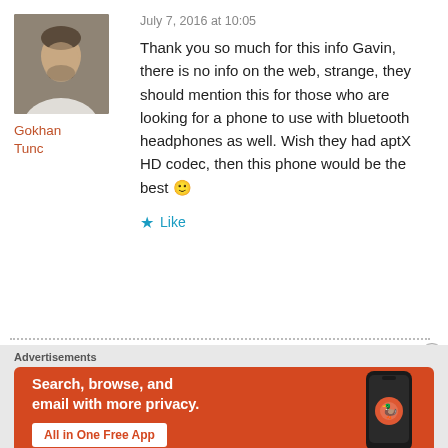July 7, 2016 at 10:05
[Figure (photo): Profile photo of Gokhan Tunc, a man with a beard wearing a light-colored shirt]
Gokhan Tunc
Thank you so much for this info Gavin, there is no info on the web, strange, they should mention this for those who are looking for a phone to use with bluetooth headphones as well. Wish they had aptX HD codec, then this phone would be the best 🙂
★ Like
Advertisements
[Figure (screenshot): DuckDuckGo advertisement banner with orange background showing 'Search, browse, and email with more privacy. All in One Free App' with a phone image and DuckDuckGo logo]